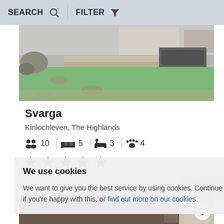SEARCH   🔍  |  FILTER   ▼
[Figure (photo): Outdoor garden with green lawn, stone patio, raised deck with storage box/hot tub in background]
Svarga
Kinlochleven, The Highlands
👥 10  🛏 5  🛁 3  🐾 4
★★★★★
£3,069
We use cookies
We want to give you the best service by using cookies. Continue browsing if you're happy with this, or find out more on our cookies.
[Figure (photo): Bottom strip showing partial view of another property listing]